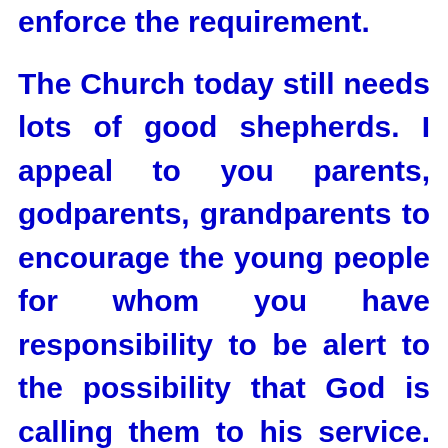enforce the requirement. The Church today still needs lots of good shepherds. I appeal to you parents, godparents, grandparents to encourage the young people for whom you have responsibility to be alert to the possibility that God is calling them to his service. Despite the hazards of the task, and the modest financial rewards, it is a very